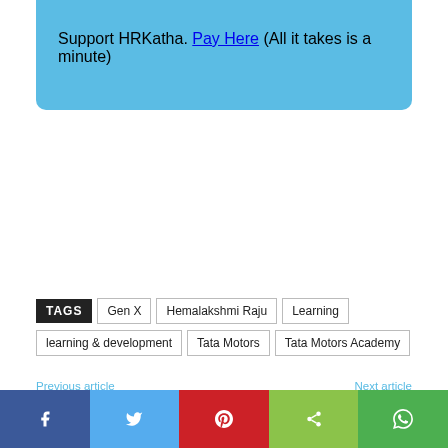Support HRKatha. Pay Here (All it takes is a minute)
TAGS: Gen X | Hemalakshmi Raju | Learning | learning & development | Tata Motors | Tata Motors Academy
Previous article
What is it like to report to a younger boss?
Next article
Returning salary hikes and bonuses
[Figure (photo): Profile photo of a person, partially visible]
[Figure (infographic): Social share bar with Facebook, Twitter, Pinterest, Share, and WhatsApp buttons]